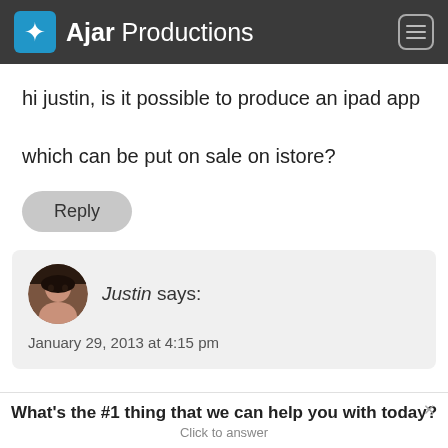Ajar Productions
hi justin, is it possible to produce an ipad app which can be put on sale on istore?
Reply
Justin says:
January 29, 2013 at 4:15 pm
What's the #1 thing that we can help you with today?
Click to answer